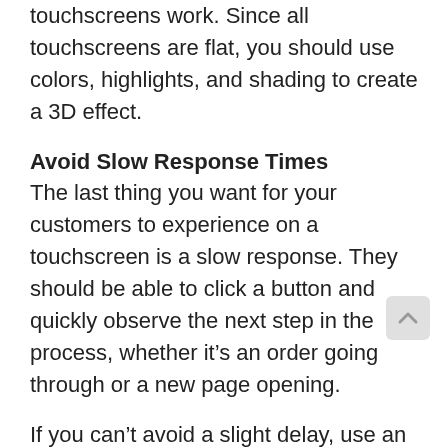Visual contrast is important for making touchscreens work. Since all touchscreens are flat, you should use colors, highlights, and shading to create a 3D effect.
Avoid Slow Response Times
The last thing you want for your customers to experience on a touchscreen is a slow response. They should be able to click a button and quickly observe the next step in the process, whether it’s an order going through or a new page opening.
If you can’t avoid a slight delay, use an hourglass or clock symbol to show that the program is working. This way your customers won’t assume they made an error or something is wrong with your program.